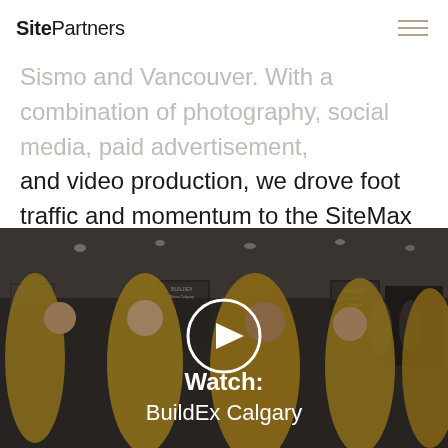SitePartners
Sismo and Vancouver. With a combination of photography, social media, paid advertisement, and video production, we drove foot traffic and momentum to the SiteMax Booth.
[Figure (photo): Photo of people in yellow shirts at a trade show (BuildEx Calgary), with a circular play button overlay and text 'Watch: BuildEx Calgary']